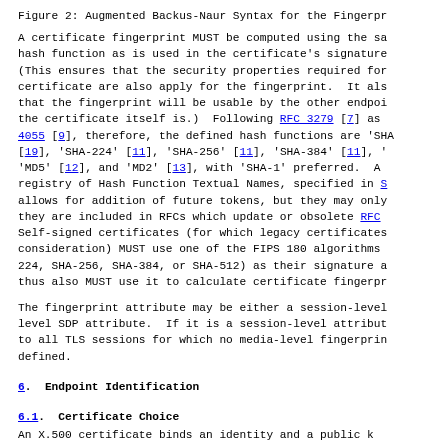Figure 2: Augmented Backus-Naur Syntax for the Fingerpr
A certificate fingerprint MUST be computed using the sa hash function as is used in the certificate's signature (This ensures that the security properties required for certificate are also apply for the fingerprint.  It als that the fingerprint will be usable by the other endpoi the certificate itself is.)  Following RFC 3279 [7] as 4055 [9], therefore, the defined hash functions are 'SH [19], 'SHA-224' [11], 'SHA-256' [11], 'SHA-384' [11], ' 'MD5' [12], and 'MD2' [13], with 'SHA-1' preferred.  A registry of Hash Function Textual Names, specified in S allows for addition of future tokens, but they may only they are included in RFCs which update or obsolete RFC  Self-signed certificates (for which legacy certificates consideration) MUST use one of the FIPS 180 algorithms 224, SHA-256, SHA-384, or SHA-512) as their signature a thus also MUST use it to calculate certificate fingerpr
The fingerprint attribute may be either a session-level level SDP attribute.  If it is a session-level attribut to all TLS sessions for which no media-level fingerprin defined.
6.  Endpoint Identification
6.1.  Certificate Choice
An X.500 certificate binds an identity and a public k